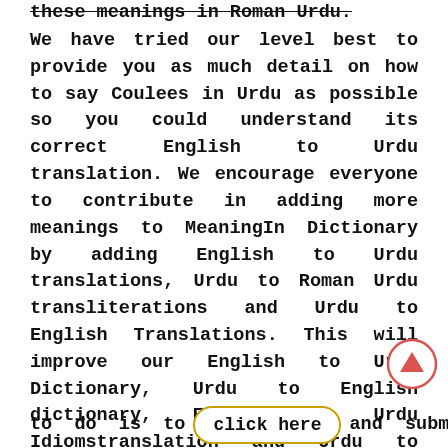these meanings in Roman Urdu.
We have tried our level best to provide you as much detail on how to say Coulees in Urdu as possible so you could understand its correct English to Urdu translation. We encourage everyone to contribute in adding more meanings to MeaningIn Dictionary by adding English to Urdu translations, Urdu to Roman Urdu transliterations and Urdu to English Translations. This will improve our English to Urdu Dictionary, Urdu to English dictionary, English to Urdu Idioms translation and Urdu to English Idioms translations. Although we have added all of the meanings of Coulees with utmost care but there could be human errors in the translation. So if you encounter any problem in our translation service please feel free to correct it at the spot. All you have
to do is to   click here   and submit your